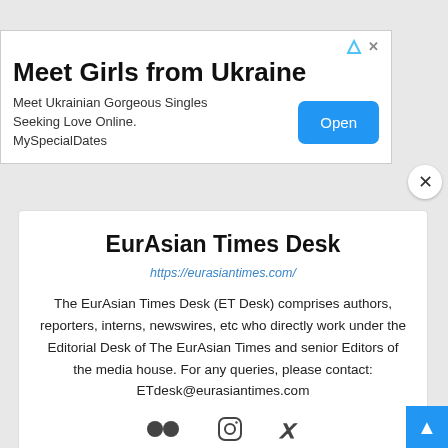[Figure (screenshot): Advertisement banner: 'Meet Girls from Ukraine' with 'Open' button and ad close icons]
EurAsian Times Desk
https://eurasiantimes.com/
The EurAsian Times Desk (ET Desk) comprises authors, reporters, interns, newswires, etc who directly work under the Editorial Desk of The EurAsian Times and senior Editors of the media house. For any queries, please contact: ETdesk@eurasiantimes.com
[Figure (infographic): Social media icons: Flickr (two dots), Instagram, Xing]